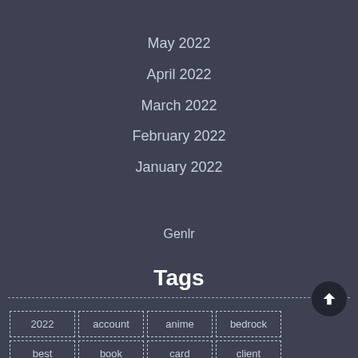May 2022
April 2022
March 2022
February 2022
January 2022
Genlr
Tags
2022
account
anime
bedrock
best
book
card
client
code
codes
covid
discord
download
fortnite
free
from
full
funeral